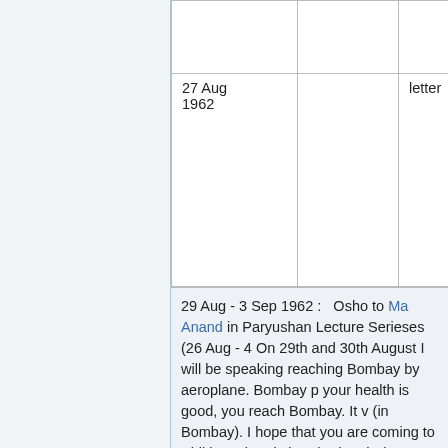|  |  |  |
| 27 Aug 1962 |  | letter |
29 Aug - 3 Sep 1962 :   Osho to Ma Anand... in Paryushan Lecture Serieses (26 Aug - 4... On 29th and 30th August I will be speaking... reaching Bombay by aeroplane. Bombay p... your health is good, you reach Bombay. It v... (in Bombay). I hope that you are coming to... Bhikhamchand Ji Kothari and Shree Bhikha... them. But in case the health is giving you e... Whatever, do write. I am in bliss." **
31 Aug 1962 pm :   Osho to Ma Anandmay... what have you thought? I will start at 6:30 i... plane from Calcutta and would reach 10 o'c...